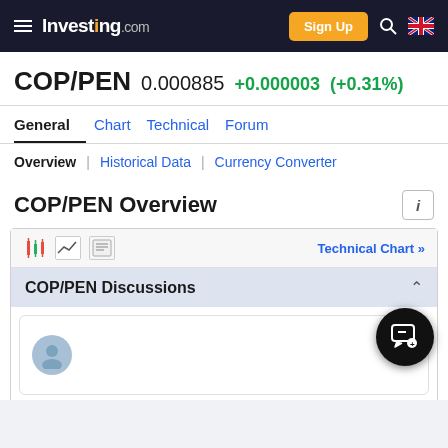Investing.com — Sign Up
COP/PEN 0.000885 +0.000003 (+0.31%)
General | Chart | Technical | Forum
Overview | Historical Data | Currency Converter
COP/PEN Overview
Technical Chart »
COP/PEN Discussions